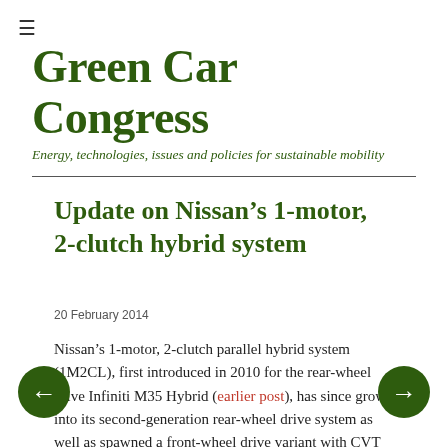≡
Green Car Congress
Energy, technologies, issues and policies for sustainable mobility
Update on Nissan's 1-motor, 2-clutch hybrid system
20 February 2014
Nissan's 1-motor, 2-clutch parallel hybrid system (1M2CL), first introduced in 2010 for the rear-wheel drive Infiniti M35 Hybrid (earlier post), has since grown into its second-generation rear-wheel drive system as well as spawned a front-wheel drive variant with CVT (earlier post). The system and its offshoots are now applied in 4 Infiniti and Nissan hybrid vehicles—Q50, Q70, QX60 and Pathfinder.